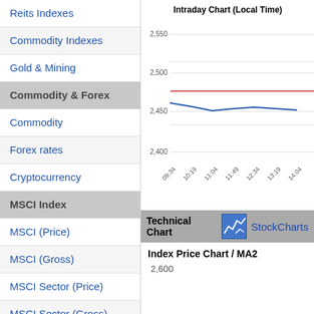Reits Indexes
Commodity Indexes
Gold & Mining
Commodity & Forex
Commodity
Forex rates
Cryptocurrency
MSCI Index
MSCI (Price)
MSCI (Gross)
MSCI Sector (Price)
MSCI Sector (Gross)
[Figure (line-chart): Intraday Chart (Local Time)]
Technical Chart  StockCharts
Index Price Chart / MA2
2,600